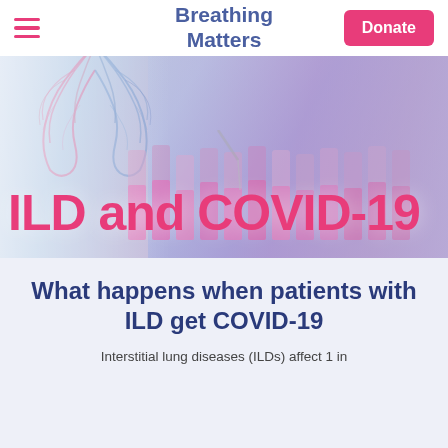Breathing Matters
[Figure (screenshot): Website screenshot showing Breathing Matters charity website header with hamburger menu, Breathing Matters logo with lung illustration in pink and blue, and a pink Donate button. Below is a hero banner with a laboratory photo (pipette, test tubes with pink liquid) overlaid with the text 'ILD and COVID-19' in large pink font.]
What happens when patients with ILD get COVID-19
Interstitial lung diseases (ILDs) affect 1 in